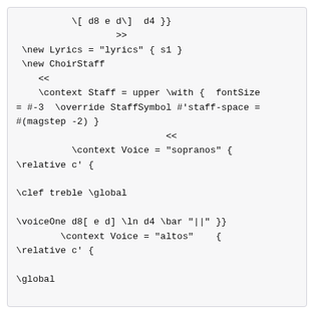\[ d8 e d\]  d4 }}
                  >>
 \new Lyrics = "lyrics" { s1 }
 \new ChoirStaff
    <<
    \context Staff = upper \with {  fontSize
= #-3  \override StaffSymbol #'staff-space =
#(magstep -2) }
                           <<
          \context Voice = "sopranos" {
\relative c' {

\clef treble \global

\voiceOne d8[ e d] \ln d4 \bar "||" }}
        \context Voice = "altos"    {
\relative c' {

\global